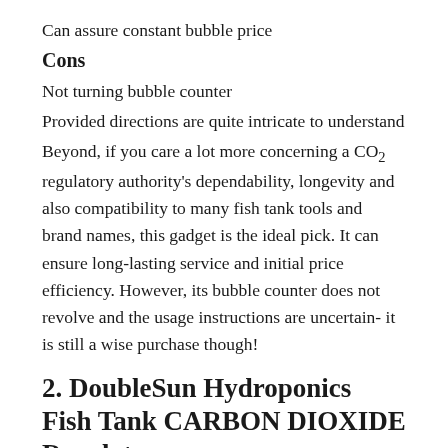Can assure constant bubble price
Cons
Not turning bubble counter
Provided directions are quite intricate to understand
Beyond, if you care a lot more concerning a CO2 regulatory authority's dependability, longevity and also compatibility to many fish tank tools and brand names, this gadget is the ideal pick. It can ensure long-lasting service and initial price efficiency. However, its bubble counter does not revolve and the usage instructions are uncertain- it is still a wise purchase though!
2. DoubleSun Hydroponics Fish Tank CARBON DIOXIDE Regulator